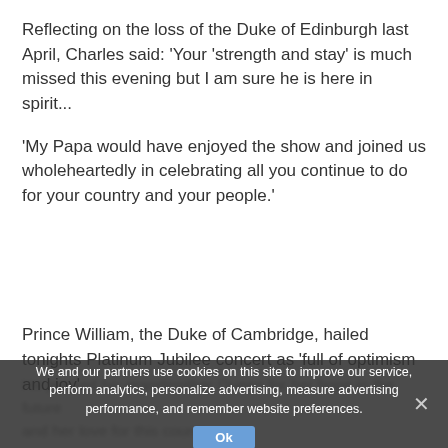Reflecting on the loss of the Duke of Edinburgh last April, Charles said: ‘Your ‘strength and stay’ is much missed this evening but I am sure he is here in spirit...
‘My Papa would have enjoyed the show and joined us wholeheartedly in celebrating all you continue to do for your country and your people.’
Prince William, the Duke of Cambridge, hailed tonights Platinum Jubilee concert as ‘full of optimism and joy’.
He praised his grandmother Queen for her hope in the future...
We and our partners use cookies on this site to improve our service, perform analytics, personalize advertising, measure advertising performance, and remember website preferences.
He echoed the Queen’s words from her speech to the COP26 UN Climate Change Summit, when she said working together...